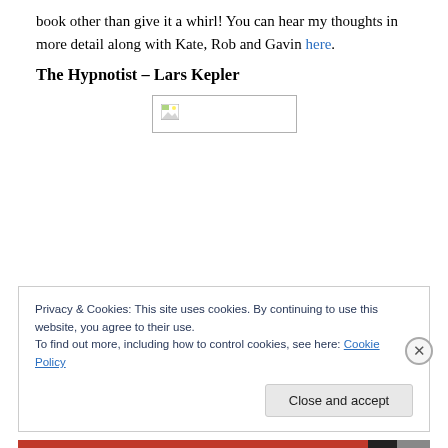book other than give it a whirl! You can hear my thoughts in more detail along with Kate, Rob and Gavin here.
The Hypnotist – Lars Kepler
[Figure (photo): Broken image placeholder box with small image icon in top-left corner]
Privacy & Cookies: This site uses cookies. By continuing to use this website, you agree to their use.
To find out more, including how to control cookies, see here: Cookie Policy
Close and accept